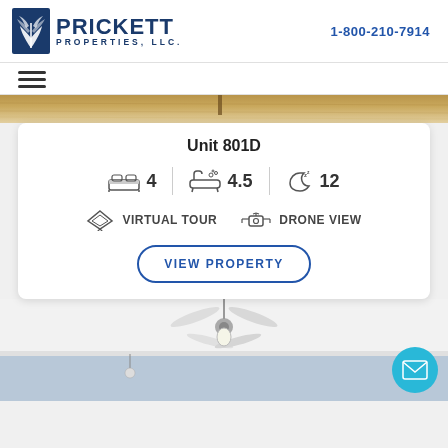[Figure (logo): Prickett Properties LLC logo with palm leaf icon and blue text]
1-800-210-7914
[Figure (other): Hamburger menu icon (three horizontal lines)]
[Figure (photo): Interior photo strip showing wooden ceiling/shelf]
Unit 801D
4 bedrooms, 4.5 bathrooms, 12 guests
VIRTUAL TOUR   DRONE VIEW
VIEW PROPERTY
[Figure (photo): Interior room photo showing ceiling fan on white ceiling with blue trim]